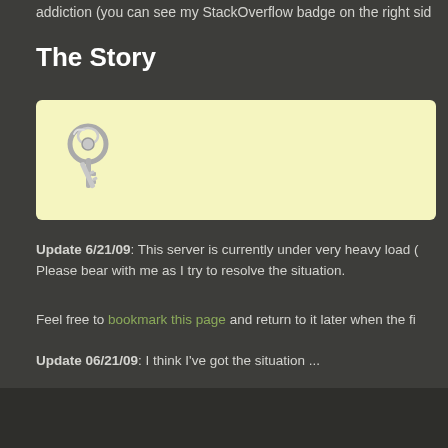addiction (you can see my StackOverflow badge on the right sid
The Story
[Figure (illustration): Yellow rounded box containing a keys icon (metal keys on a keyring)]
Update 6/21/09: This server is currently under very heavy load (
Please bear with me as I try to resolve the situation.
Feel free to bookmark this page and return to it later when the fi
Update 06/21/09: I think I've got the situation ...